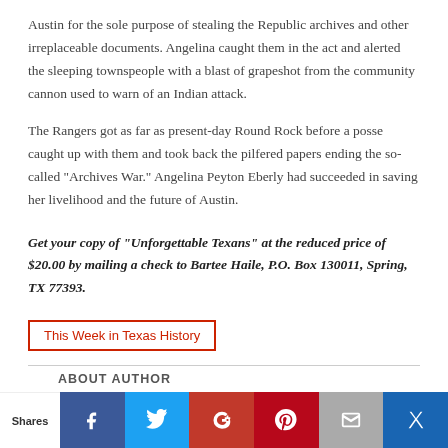Austin for the sole purpose of stealing the Republic archives and other irreplaceable documents. Angelina caught them in the act and alerted the sleeping townspeople with a blast of grapeshot from the community cannon used to warn of an Indian attack.
The Rangers got as far as present-day Round Rock before a posse caught up with them and took back the pilfered papers ending the so-called “Archives War.” Angelina Peyton Eberly had succeeded in saving her livelihood and the future of Austin.
Get your copy of “Unforgettable Texans” at the reduced price of $20.00 by mailing a check to Bartee Haile, P.O. Box 130011, Spring, TX 77393.
This Week in Texas History
ABOUT AUTHOR
Shares